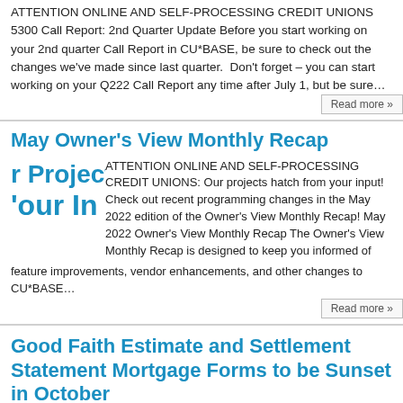ATTENTION ONLINE AND SELF-PROCESSING CREDIT UNIONS 5300 Call Report: 2nd Quarter Update Before you start working on your 2nd quarter Call Report in CU*BASE, be sure to check out the changes we've made since last quarter. Don't forget – you can start working on your Q222 Call Report any time after July 1, but be sure…
May Owner's View Monthly Recap
ATTENTION ONLINE AND SELF-PROCESSING CREDIT UNIONS: Our projects hatch from your input! Check out recent programming changes in the May 2022 edition of the Owner's View Monthly Recap! May 2022 Owner's View Monthly Recap The Owner's View Monthly Recap is designed to keep you informed of feature improvements, vendor enhancements, and other changes to CU*BASE…
Good Faith Estimate and Settlement Statement Mortgage Forms to be Sunset in October